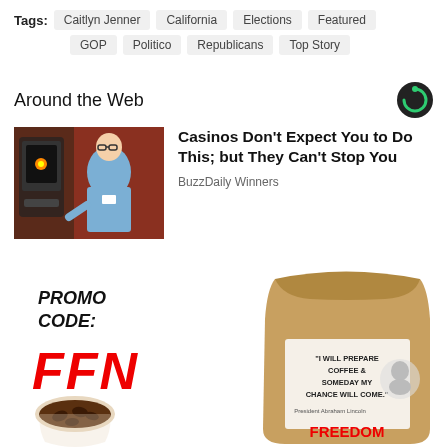Tags: Caitlyn Jenner  California  Elections  Featured  GOP  Politico  Republicans  Top Story
Around the Web
[Figure (photo): Man in blue shirt in front of casino slot machines]
Casinos Don't Expect You to Do This; but They Can't Stop You
BuzzDaily Winners
[Figure (photo): Advertisement: Promo Code FFN with a bag of Freedom coffee beans]